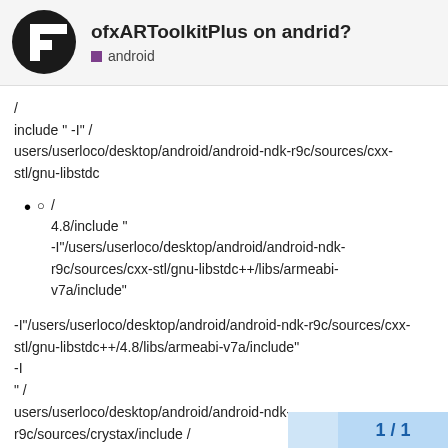ofxARToolkitPlus on andrid? — android
/
include " -I" /
users/userloco/desktop/android/android-ndk-r9c/sources/cxx-stl/gnu-libstdc
○ /
4.8/include "
-I"/users/userloco/desktop/android/android-ndk-r9c/sources/cxx-stl/gnu-libstdc++/libs/armeabi-v7a/include"
-I"/users/userloco/desktop/android/android-ndk-r9c/sources/cxx-stl/gnu-libstdc++/4.8/libs/armeabi-v7a/include"
-I
" /
users/userloco/desktop/android/android-ndk-r9c/sources/crystax/include /
" -I " ... / . . /... / Libs / glu / include_android addons / ofxAndroid / src " -I.../.../.../libs/F
1 / 1